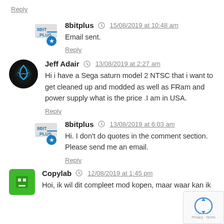Reply
8bitplus  15/08/2019 at 10:48 am
Email sent.
Reply
Jeff Adair  13/08/2019 at 2:27 am
Hi i have a Sega saturn model 2 NTSC that i want to get cleaned up and modded as well as FRam and power supply what is the price .I am in USA.
Reply
8bitplus  13/08/2019 at 6:03 am
Hi. I don't do quotes in the comment section. Please send me an email.
Reply
Copylab  12/08/2019 at 1:45 pm
Hoi, ik wil dit compleet mod kopen, maar waar kan ik